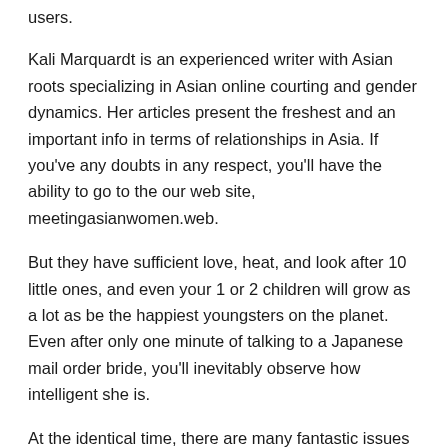users.
Kali Marquardt is an experienced writer with Asian roots specializing in Asian online courting and gender dynamics. Her articles present the freshest and an important info in terms of relationships in Asia. If you've any doubts in any respect, you'll have the ability to go to the our web site, meetingasianwomen.web.
But they have sufficient love, heat, and look after 10 little ones, and even your 1 or 2 children will grow as a lot as be the happiest youngsters on the planet. Even after only one minute of talking to a Japanese mail order bride, you'll inevitably observe how intelligent she is.
At the identical time, there are many fantastic issues to learn about Japan, and the gorgeous and charming Japanese brides are one of them. Here is your ultimate guide to assembly and marrying Japanese mail order brides. So what makes Japanese women so like and...